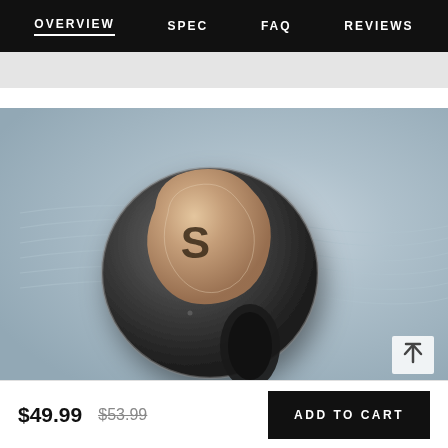OVERVIEW  SPEC  FAQ  REVIEWS
[Figure (photo): Close-up product photo of a single wireless earbud (SoundPEATS or similar brand) with a triangular gold/rose-gold face panel bearing a shield logo, dark gray body, on a soft gray gradient background with subtle wave texture.]
$49.99  $53.99  ADD TO CART